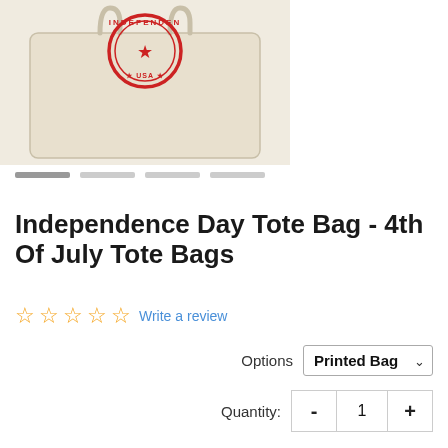[Figure (photo): Product photo of a beige/natural canvas tote bag with a red circular Independence Day stamp/logo printed on it. The bag is laying flat showing the front face.]
Independence Day Tote Bag - 4th Of July Tote Bags
☆☆☆☆☆ Write a review
Options  Printed Bag
Quantity:  -  1  +